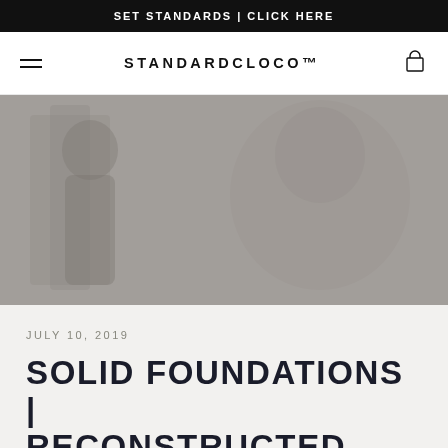SET STANDARDS | CLICK HERE
STANDARDCLOCO™
[Figure (photo): Grayscale hero banner image showing a person in a gym or athletic setting, muted gray tones]
JULY 10, 2019
SOLID FOUNDATIONS | RECONSTRUCTED